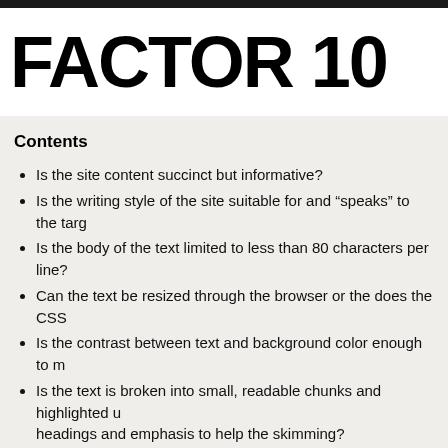FACTOR 10
Contents
Is the site content succinct but informative?
Is the writing style of the site suitable for and “speaks” to the targ…
Is the body of the text limited to less than 80 characters per line?
Can the text be resized through the browser or the does the CSS…
Is the contrast between text and background color enough to m…
Is the text is broken into small, readable chunks and highlighted u… headings and emphasis to help the skimming?
In the articles, there should be links to more detailed explanation… definitions of jargon terms. Are you doing this?
Do you have a page “About” to identify the content author or cre… items that were not written by the site owner himself?
Do you have testimonials and publish them on your site? Do you… regularly?